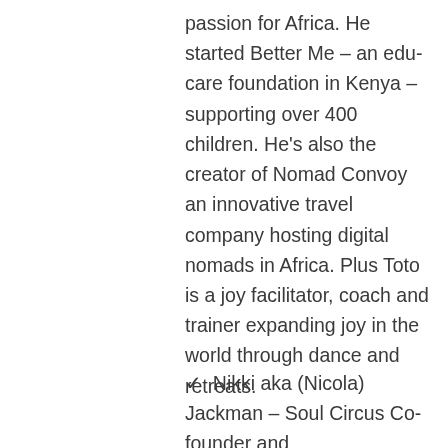passion for Africa. He started Better Me – an edu-care foundation in Kenya – supporting over 400 children. He's also the creator of Nomad Convoy an innovative travel company hosting digital nomads in Africa. Plus Toto is a joy facilitator, coach and trainer expanding joy in the world through dance and retreats.
✓ Nikki aka (Nicola) Jackman – Soul Circus Co-founder and